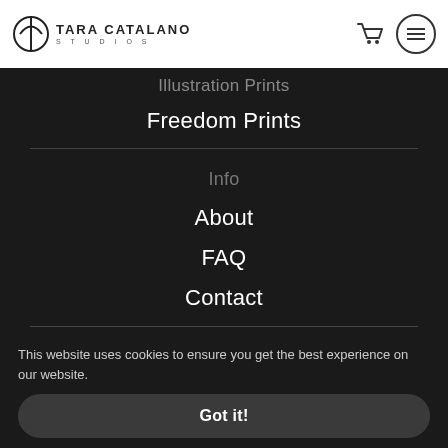Tara Catalano Studios
Freedom Prints
Info
About
FAQ
Contact
Social
This website uses cookies to ensure you get the best experience on our website.
Got it!